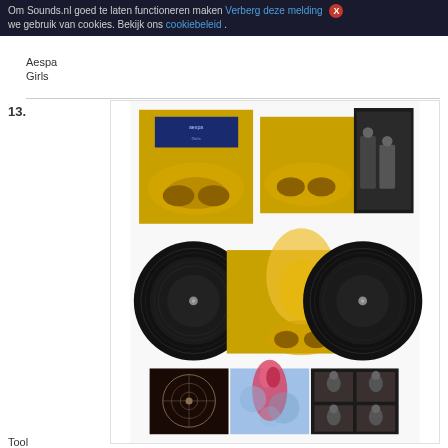Om Sounds.nl goed te laten functioneren maken we gebruik van cookies. Bekijk ons cookiebeleid . Verberg deze melding X
Aespa
Girls
13.
[Figure (photo): Product photo showing a vinyl record album set with golden artwork covers, gatefold sleeve open showing band photos, two black vinyl discs, and open booklet pages with illustrated artwork and band portraits.]
Tool